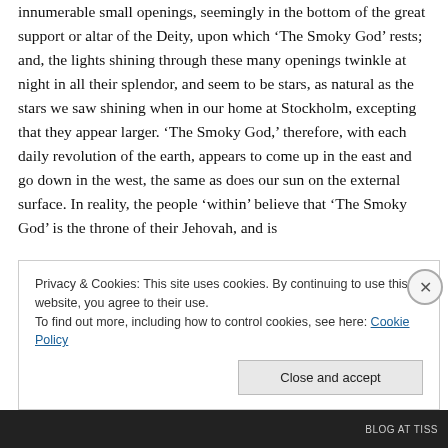innumerable small openings, seemingly in the bottom of the great support or altar of the Deity, upon which ‘The Smoky God’ rests; and, the lights shining through these many openings twinkle at night in all their splendor, and seem to be stars, as natural as the stars we saw shining when in our home at Stockholm, excepting that they appear larger. ‘The Smoky God,’ therefore, with each daily revolution of the earth, appears to come up in the east and go down in the west, the same as does our sun on the external surface. In reality, the people ‘within’ believe that ‘The Smoky God’ is the throne of their Jehovah, and is
Privacy & Cookies: This site uses cookies. By continuing to use this website, you agree to their use.
To find out more, including how to control cookies, see here: Cookie Policy
Close and accept
BLOG AT TISS